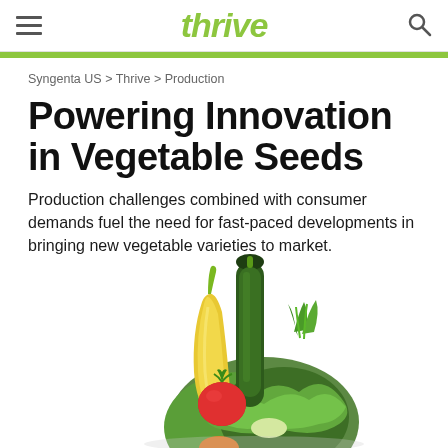thrive
Syngenta US > Thrive > Production
Powering Innovation in Vegetable Seeds
Production challenges combined with consumer demands fuel the need for fast-paced developments in bringing new vegetable varieties to market.
[Figure (photo): Assorted fresh vegetables including a yellow squash, dark green zucchini, tomato, leafy green lettuce, and other produce arranged together on a white background]